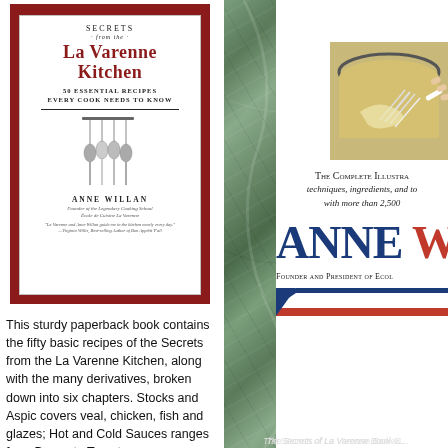[Figure (photo): Book cover of 'Secrets from the La Varenne Kitchen' by Anne Willan. Red cover with white inner border, illustration of three hanging ladles/spoons. Subtitle: 50 Essential Recipes Every Cook Needs to Know. Red and white design.]
This sturdy paperback book contains the fifty basic recipes of the Secrets from the La Varenne Kitchen, along with the many derivatives, broken down into six chapters. Stocks and Aspic covers veal, chicken, fish and glazes; Hot and Cold Sauces ranges from Brown to Tomato,
[Figure (photo): Partial view of a book cover by Anne Willan. Shows 'PRAT' letters at top (partial title), a photo of hands whisking cream/custard in a bowl, text 'The Complete Illustra[ted]... techniques, ingredients, and to[ols]... with more than 2,500[photographs]', large blue letters 'ANNE W[ILLAN]', red text 'Founder and President of Ecol[e de Cuisine La Varenne]'. Tricolor (blue/white/red) banner at bottom. Green marble background.]
The Secrets of La Varenne Book &...